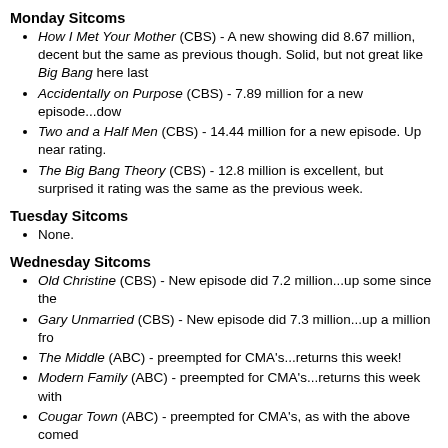Monday Sitcoms
How I Met Your Mother (CBS) - A new showing did 8.67 million, decent but the same as previous though. Solid, but not great like Big Bang here last
Accidentally on Purpose (CBS) - 7.89 million for a new episode...dow
Two and a Half Men (CBS) - 14.44 million for a new episode. Up near rating.
The Big Bang Theory (CBS) - 12.8 million is excellent, but surprised it rating was the same as the previous week.
Tuesday Sitcoms
None.
Wednesday Sitcoms
Old Christine (CBS) - New episode did 7.2 million...up some since the
Gary Unmarried (CBS) - New episode did 7.3 million...up a million fro
The Middle (ABC) - preempted for CMA's...returns this week!
Modern Family (ABC) - preempted for CMA's...returns this week with
Cougar Town (ABC) - preempted for CMA's, as with the above comed
Thursday Sitcoms
Community (NBC) - New episode did 5.09 million and a 2.1 18-49 rating. What happened to the growth from the previous few weeks?
Parks & Recreation (NBC) - This show did terrible doing only 4.58 mi
The Office (NBC) - 8.05 million for a new episode, down a tad from th
30 Rock (NBC) - A new episode did 6.0 million and a 3.0 18-49 rating